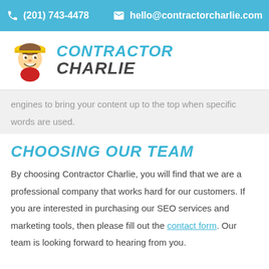(201) 743-4478  hello@contractorcharlie.com
[Figure (logo): Contractor Charlie logo with cartoon mascot in hard hat and text CONTRACTOR CHARLIE]
engines to bring your content up to the top when specific words are used.
CHOOSING OUR TEAM
By choosing Contractor Charlie, you will find that we are a professional company that works hard for our customers. If you are interested in purchasing our SEO services and marketing tools, then please fill out the contact form. Our team is looking forward to hearing from you.